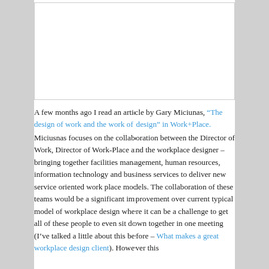[Figure (other): Blank white image placeholder with light border]
A few months ago I read an article by Gary Miciunas, “The design of work and the work of design” in Work+Place. Miciusnas focuses on the collaboration between the Director of Work, Director of Work-Place and the workplace designer – bringing together facilities management, human resources, information technology and business services to deliver new service oriented work place models. The collaboration of these teams would be a significant improvement over current typical model of workplace design where it can be a challenge to get all of these people to even sit down together in one meeting (I’ve talked a little about this before – What makes a great workplace design client). However this